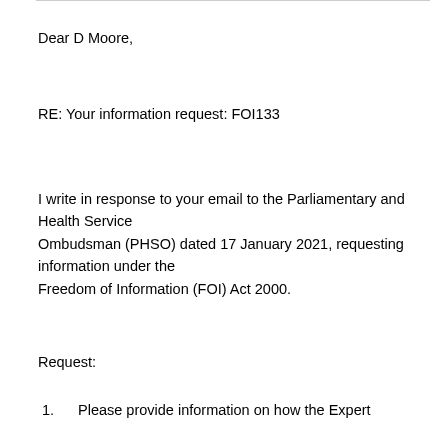Dear D Moore,
RE: Your information request: FOI133
I write in response to your email to the Parliamentary and Health Service Ombudsman (PHSO) dated 17 January 2021, requesting information under the Freedom of Information (FOI) Act 2000.
Request:
1. Please provide information on how the Expert